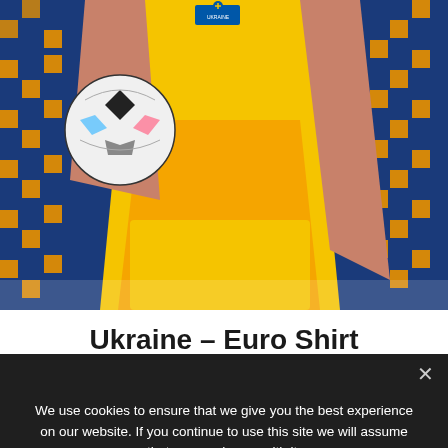[Figure (photo): A soccer/football player wearing a yellow Ukraine national team jersey and shorts, holding a soccer ball, posing against a blue and orange/gold pixelated pattern background.]
Ukraine – Euro Shirt
We use cookies to ensure that we give you the best experience on our website. If you continue to use this site we will assume that you are happy with it.